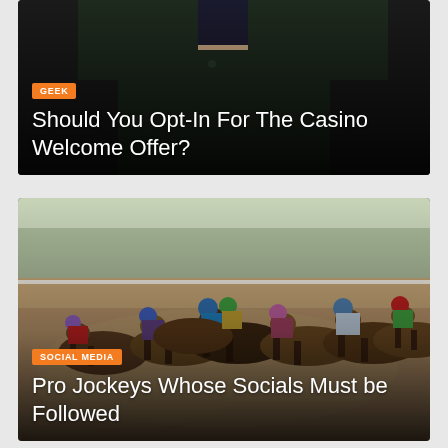[Figure (photo): Dark background photo of a person in a dark jacket holding a phone, partially cropped at top. Card overlay with category tag and title.]
Should You Opt-In For The Casino Welcome Offer?
[Figure (photo): Photo of horse racing jockeys on a dirt track during a race, multiple colorful helmets visible. Card overlay with category tag and title.]
Pro Jockeys Whose Socials Must be Followed